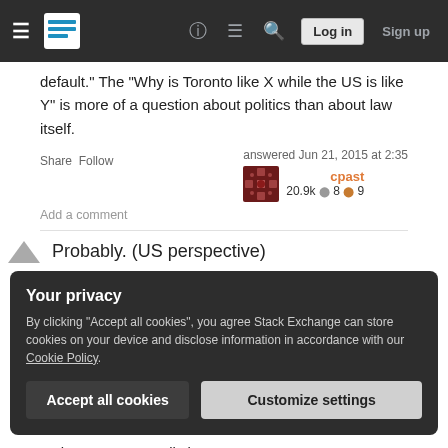[Figure (screenshot): Stack Exchange navigation bar with hamburger menu, logo, help, chat, search icons, Log in and Sign up buttons]
default." The "Why is Toronto like X while the US is like Y" is more of a question about politics than about law itself.
Share  Follow
answered Jun 21, 2015 at 2:35
cpast
20.9k ●8 ●9
Add a comment
Probably. (US perspective)
Your privacy
By clicking "Accept all cookies", you agree Stack Exchange can store cookies on your device and disclose information in accordance with our Cookie Policy.
Accept all cookies
Customize settings
make accurate predictions.